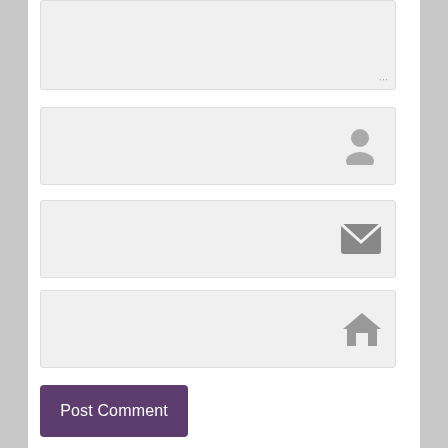[Figure (screenshot): Comment form textarea (large text input area with resize handle at bottom right)]
[Figure (screenshot): Name input field with user/person icon on the right]
[Figure (screenshot): Email input field with envelope/mail icon on the right]
[Figure (screenshot): Website/URL input field with house/home icon on the right]
Post Comment
Notify me of new posts via email.
This site uses Akismet to reduce spam. Learn how